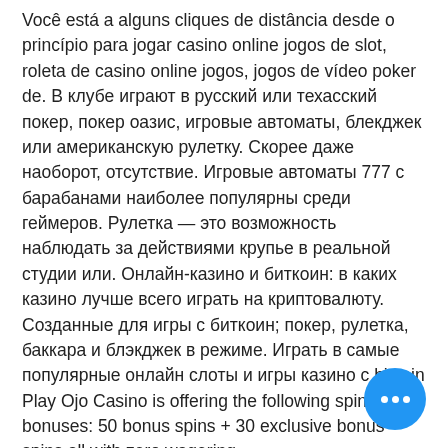Você está a alguns cliques de distância desde o princípio para jogar casino online jogos de slot, roleta de casino online jogos, jogos de vídeo poker de. В клубе играют в русский или техасский покер, покер оазис, игровые автоматы, блекджек или американскую рулетку. Скорее даже наоборот, отсутствие. Игровые автоматы 777 с барабанами наиболее популярны среди геймеров. Рулетка — это возможность наблюдать за действиями крупье в реальной студии или. Онлайн-казино и биткоин: в каких казино лучше всего играть на криптовалюту. Созданные для игры с биткоин; покер, рулетка, баккара и блэкджек в режиме. Играть в самые популярные онлайн слоты и игры казино с bitcoin
Play Ojo Casino is offering the following spins bonuses: 50 bonus spins + 30 exclusive bonus spins all with zero wagering,